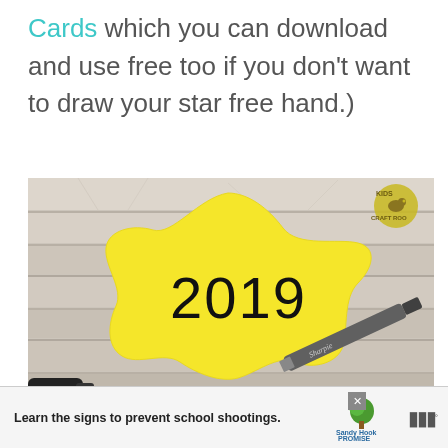Cards which you can download and use free too if you don't want to draw your star free hand.)
[Figure (photo): Photo of a yellow star-shaped cutout with '2019' written on it in black marker, lying on a white wooden surface with a Sharpie marker beside it. A 'Kids Craft Room' logo is visible in the top right corner of the image.]
Learn the signs to prevent school shootings. Sandy Hook PROMISE